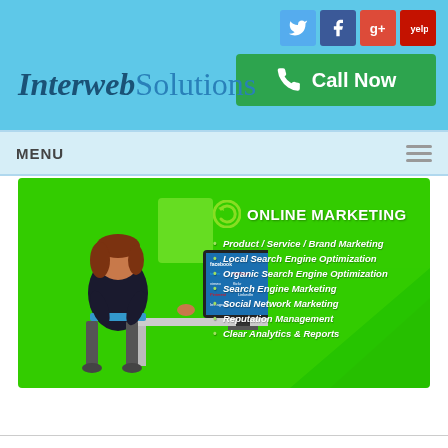[Figure (screenshot): Social media icons row: Twitter (blue bird), Facebook (blue f), Google+ (red g+), Yelp (red yelp icon)]
[Figure (illustration): Green Call Now button with phone icon]
InterwebSolutions
MENU
[Figure (illustration): Green banner with cartoon illustration of two business people at a desk with a computer showing social media logos. Right side shows ONLINE MARKETING heading with bullet list of services.]
Product / Service / Brand Marketing
Local Search Engine Optimization
Organic Search Engine Optimization
Search Engine Marketing
Social Network Marketing
Reputation Management
Clear Analytics & Reports